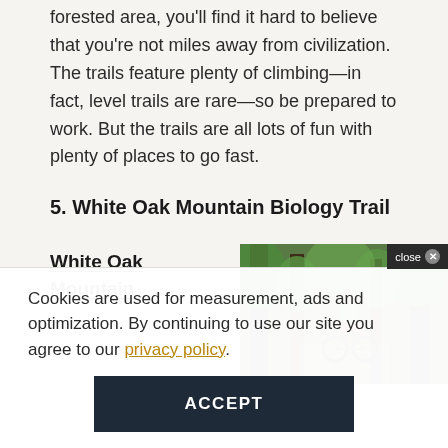forested area, you'll find it hard to believe that you're not miles away from civilization. The trails feature plenty of climbing—in fact, level trails are rare—so be prepared to work. But the trails are all lots of fun with plenty of places to go fast.
5. White Oak Mountain Biology Trail
White Oak Mountain
[Figure (photo): Mountain biker riding through a forested trail with green trees]
Cookies are used for measurement, ads and optimization. By continuing to use our site you agree to our privacy policy.
ACCEPT